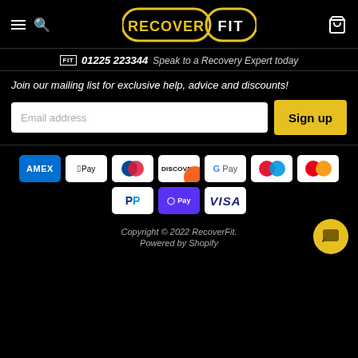RecoverFit navigation bar with hamburger menu, search, logo, and cart icon
01225 223344 Speak to a Recovery Expert today
Join our mailing list for exclusive help, advice and discounts!
[Figure (screenshot): Email address input field with Sign up button]
[Figure (infographic): Payment method icons: AMEX, Apple Pay, Diners Club, Discover, Google Pay, Maestro, Mastercard, PayPal, Shop Pay, Visa]
Copyright © 2022 RecoverFit. Powered by Shopify